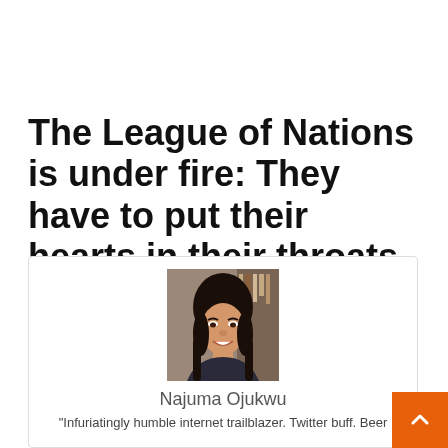The League of Nations is under fire: They have to put their hearts in their throats
[Figure (photo): Portrait photo of Najuma Ojukwu, a young woman with long dark hair, smiling]
Najuma Ojukwu
"Infuriatingly humble internet trailblazer. Twitter buff. Beer